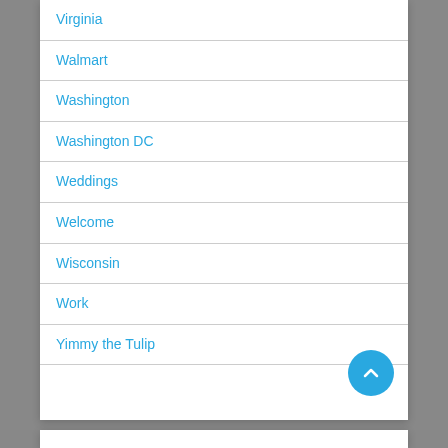Virginia
Walmart
Washington
Washington DC
Weddings
Welcome
Wisconsin
Work
Yimmy the Tulip